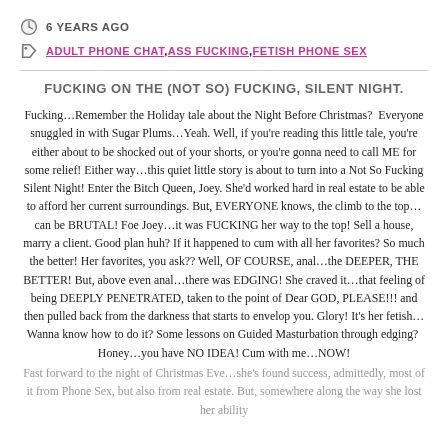6 YEARS AGO
ADULT PHONE CHAT,ASS FUCKING,FETISH PHONE SEX
FUCKING ON THE (NOT SO) FUCKING, SILENT NIGHT.
Fucking…Remember the Holiday tale about the Night Before Christmas?  Everyone snuggled in with Sugar Plums…Yeah. Well, if you're reading this little tale, you're either about to be shocked out of your shorts, or you're gonna need to call ME for some relief! Either way…this quiet little story is about to turn into a Not So Fucking Silent Night! Enter the Bitch Queen, Joey. She'd worked hard in real estate to be able to afford her current surroundings. But, EVERYONE knows, the climb to the top…can be BRUTAL! Foe Joey…it was FUCKING her way to the top! Sell a house, marry a client. Good plan huh? If it happened to cum with all her favorites? So much the better! Her favorites, you ask?? Well, OF COURSE, anal…the DEEPER, THE BETTER! But, above even anal…there was EDGING! She craved it…that feeling of being DEEPLY PENETRATED, taken to the point of Dear GOD, PLEASE!!! and then pulled back from the darkness that starts to envelop you. Glory! It's her fetish…Wanna know how to do it? Some lessons on Guided Masturbation through edging?  Honey…you have NO IDEA! Cum with me…NOW!
Fast forward to the night of Christmas Eve…she's found success, admittedly, most of it from Phone Sex, but also from real estate. But, somewhere along the way she lost her ability to...